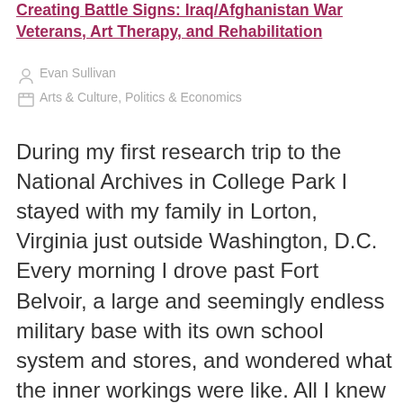Creating Battle Signs: Iraq/Afghanistan War Veterans, Art Therapy, and Rehabilitation
Evan Sullivan
Arts & Culture, Politics & Economics
During my first research trip to the National Archives in College Park I stayed with my family in Lorton, Virginia just outside Washington, D.C. Every morning I drove past Fort Belvoir, a large and seemingly endless military base with its own school system and stores, and wondered what the inner workings were like. All I knew was that it was massive. A year later, on my second trip to the archives, I made a detour to